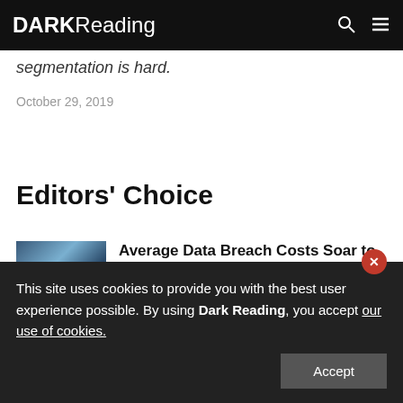DARK Reading
segmentation is hard.
October 29, 2019
Editors' Choice
[Figure (photo): Thumbnail image of money / dollar bills for article about data breach costs]
Average Data Breach Costs Soar to $4.4M in 2022
This site uses cookies to provide you with the best user experience possible. By using Dark Reading, you accept our use of cookies.